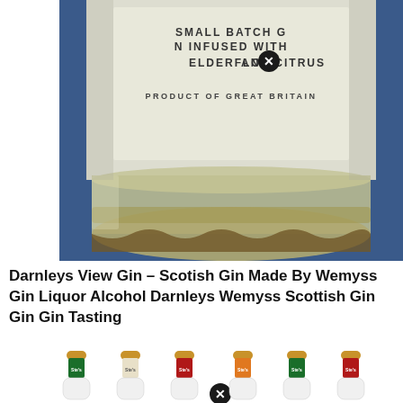[Figure (photo): Close-up photo of the bottom of a gin bottle with label text 'SMALL BATCH GIN INFUSED WITH ELDERFLOWER AND CITRUS' and 'PRODUCT OF GREAT BRITAIN', set against a blue background. A close/X button overlay is visible.]
Darnleys View Gin – Scotish Gin Made By Wemyss Gin Liquor Alcohol Darnleys Wemyss Scottish Gin Gin Gin Tasting
[Figure (photo): Row of six gin bottles with gold caps and colorful labels (green, cream, red, orange, green, red), partially visible at the bottom of the page. A close/X button overlay is visible.]